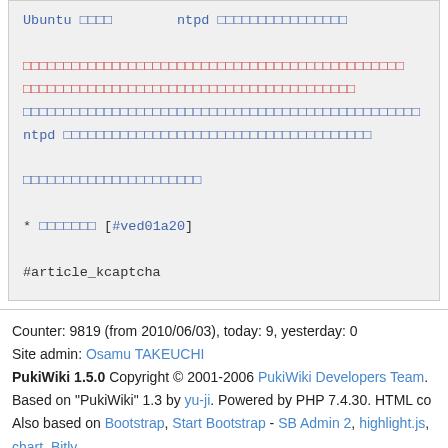Ubuntu □□□□　ntpd □□□□□□□□□□□□□□□□
□□□□□□□□□□□□□□□□□□□□□□□□□□□□□□□□□□□□□□□□□□□□□□□
□□□□□□□□□□□□□□□□□□□□□□□□□□□□□□□□□□□□□□□□
□□□□□□□□□□□□□□□□□□□□□□□□□□□□□□□□□□□□□□□□□□□□□□□□□
ntpd □□□□□□□□□□□□□□□□□□□□□□□□□□□□□□□□□□□□□□

□□□□□□□□□□□□□□□□□□□□□□

* □□□□□□□ [#ved01a20]

#article_kcaptcha
Counter: 9819 (from 2010/06/03), today: 9, yesterday: 0
Site admin: Osamu TAKEUCHI
PukiWiki 1.5.0 Copyright © 2001-2006 PukiWiki Developers Team.
Based on "PukiWiki" 1.3 by yu-ji. Powered by PHP 7.4.30. HTML co
Also based on Bootstrap, Start Bootstrap - SB Admin 2, highlight.js, chart, Bitly.